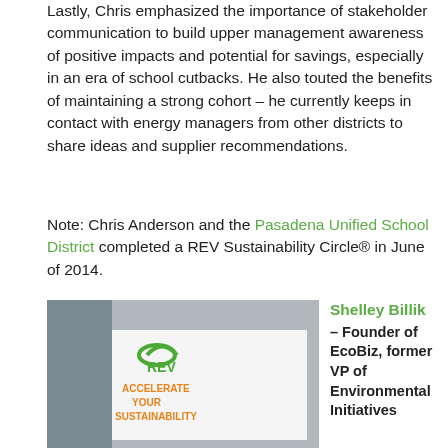Lastly, Chris emphasized the importance of stakeholder communication to build upper management awareness of positive impacts and potential for savings, especially in an era of school cutbacks. He also touted the benefits of maintaining a strong cohort – he currently keeps in contact with energy managers from other districts to share ideas and supplier recommendations.
Note: Chris Anderson and the Pasadena Unified School District completed a REV Sustainability Circle® in June of 2014.
[Figure (photo): Photo of a REV sign reading 'ACCELERATE YOUR SUSTAINABILITY' with green REV logo]
Shelley Billik – Founder of EcoBiz, former VP of Environmental Initiatives